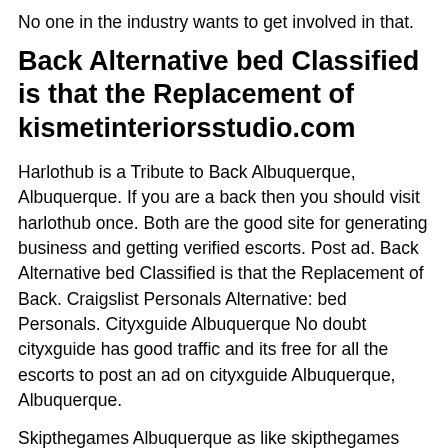No one in the industry wants to get involved in that.
Back Alternative bed Classified is that the Replacement of kismetinteriorsstudio.com
Harlothub is a Tribute to Back Albuquerque, Albuquerque. If you are a back then you should visit harlothub once. Both are the good site for generating business and getting verified escorts. Post ad. Back Alternative bed Classified is that the Replacement of Back. Craigslist Personals Alternative: bed Personals. Cityxguide Albuquerque No doubt cityxguide has good traffic and its free for all the escorts to post an ad on cityxguide Albuquerque, Albuquerque.
Skipthegames Albuquerque as like skipthegames seems very promising site. Back Albuquerque back was one of the most popular classified sites for escorts and it was used by several escorts and massage parlors for posting. Eros, Slixa Albuquerque you can also give a try to eros, slixa in